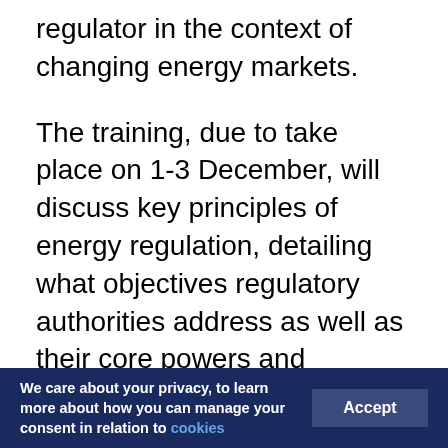regulator in the context of changing energy markets.
The training, due to take place on 1-3 December, will discuss key principles of energy regulation, detailing what objectives regulatory authorities address as well as their core powers and competences. To do so, the course will present the fundamentals of energy economics both in the gas and electricity markets and relate them to the different duties and tools of regulators, with the goal to unravel the complex relationship between regulation and the management of energy markets. The course will balance theory with practical case
We care about your privacy, to learn more about how you can manage your consent in relation to cookies